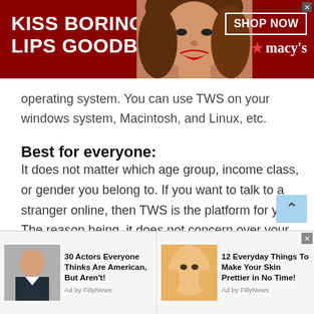[Figure (screenshot): Top advertisement banner: red background, white bold text 'KISS BORING LIPS GOODBYE', center image of woman's face with red lips, right side 'SHOP NOW' button and Macy's logo with star]
operating system. You can use TWS on your windows system, Macintosh, and Linux, etc.
Best for everyone:
It does not matter which age group, income class, or gender you belong to. If you want to talk to a stranger online, then TWS is the platform for you. The reason being, it does not concern over your age, nor it judges its users over their income, neither it discriminates against other genders as well. It goes
[Figure (screenshot): Bottom advertisement bar with two ad items: left shows actor with text '30 Actors Everyone Thinks Are American, But Aren't! Ad by FillyNews', right shows woman with face mask '12 Everyday Things To Make Your Skin Prettier in No Time! Ad by FillyNews']